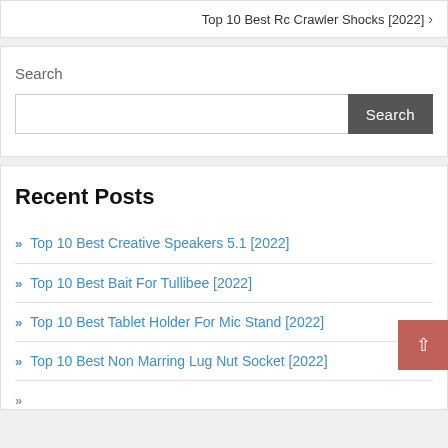Top 10 Best Rc Crawler Shocks [2022] ›
Search
Search
Recent Posts
» Top 10 Best Creative Speakers 5.1 [2022]
» Top 10 Best Bait For Tullibee [2022]
» Top 10 Best Tablet Holder For Mic Stand [2022]
» Top 10 Best Non Marring Lug Nut Socket [2022]
» Top 10 Best Ane For Hotmai [2022]